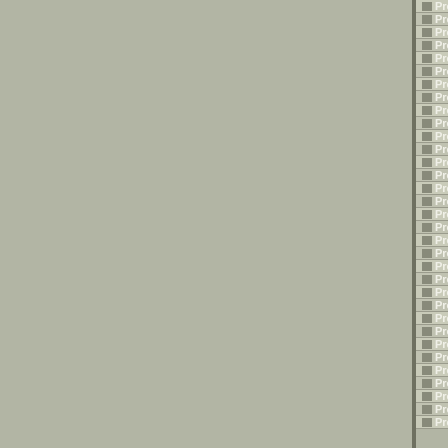Press Reports: Morning Freeman - 14 August 1860
Press Reports: Morning Freeman - 16 October 1860
Press Reports: Morning Freeman - 27 September 1860
Press Reports: Morning Freeman - 39 September 1860
Press Reports: New York Herald - 19 November 1888
Press Reports: New York Herald - 20 November 1888
Press Reports: New York Herald - 21 November 1888
Press Reports: New York Herald - 26 June 1903
Press Reports: New York Herald - 4 December 1888
Press Reports: New York Times - 10 June 1865
Press Reports: New York Times - 19 November 1888
Press Reports: New York Times - 23 November 1888
Press Reports: New York Times - 26 June 1903
Press Reports: New York Times - 4 December 1888
Press Reports: New York Times - 5 May 1865
Press Reports: New York Times - 7 May 1865
Press Reports: New York Tribune - 4 December 1888
Press Reports: New York World - 19 November 1888
Press Reports: New York World - 2 December 1888
Press Reports: New York World - 4 December 1888
Press Reports: New York World - 5 December 1888
Press Reports: New York World - 6 December 1888
Press Reports: Newark Daily Advocate - 30 May 1903
Press Reports: Oakland Daily Evening Tribune - 8 Decemb
Press Reports: Olean Democrat - 3 January 1889
Press Reports: Olean Democrat - 7 February 1889
Press Reports: Olean Democrat - 8 August 1889
Press Reports: Perth Courier - 26 November 1858
Press Reports: Pittsburgh Daily Chronicle and Telegraph -
Press Reports: Reno Evening Gazette - 20 November 1888
Press Reports: Rochester Daily Union and Advertiser - 4 A
Press Reports: Rochester Daily Union and Advertiser - 5 A
Press Reports: Rochester Democrat - 1 September - 30 L